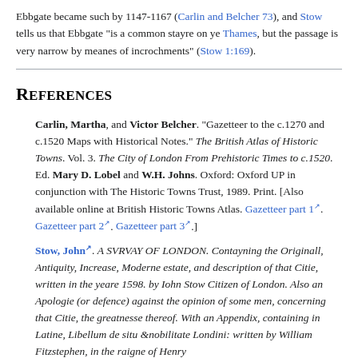Ebbgate became such by 1147-1167 (Carlin and Belcher 73), and Stow tells us that Ebbgate “is a common stayre on ye Thames, but the passage is very narrow by meanes of incrochments” (Stow 1:169).
References
Carlin, Martha, and Victor Belcher. “Gazetteer to the c.1270 and c.1520 Maps with Historical Notes.” The British Atlas of Historic Towns. Vol. 3. The City of London From Prehistoric Times to c.1520. Ed. Mary D. Lobel and W.H. Johns. Oxford: Oxford UP in conjunction with The Historic Towns Trust, 1989. Print. [Also available online at British Historic Towns Atlas. Gazetteer part 1. Gazetteer part 2. Gazetteer part 3.]
Stow, John. A SVRVAY OF LONDON. Contayning the Originall, Antiquity, Increase, Moderne estate, and description of that Citie, written in the yeare 1598. by Iohn Stow Citizen of London. Also an Apologie (or defence) against the opinion of some men, concerning that Citie, the greatnesse thereof. With an Appendix, containing in Latine, Libellum de situ &nobilitate Londini: written by William Fitzstephen, in the raigne of Henry